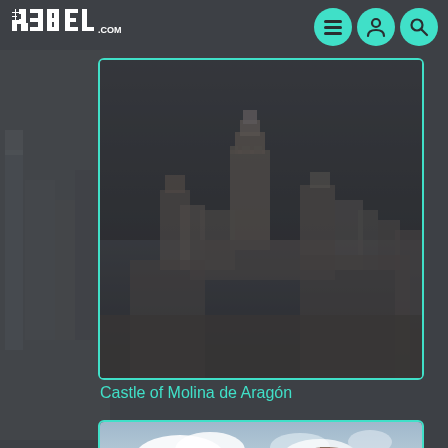R3BEL.COM website header with logo and navigation icons
[Figure (photo): Darkened photograph of the Castle of Molina de Aragón, a medieval castle silhouette against a dark sky, shown inside a teal-bordered card]
Castle of Molina de Aragón
[Figure (photo): Photograph of a medieval castle with cylindrical towers and stone walls under a blue sky with clouds, partially visible at bottom of page, shown inside a teal-bordered card]